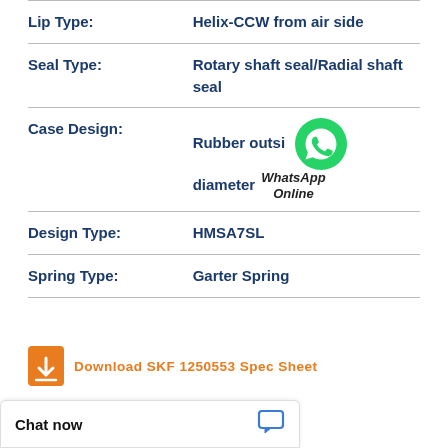| Property | Value |
| --- | --- |
| Lip Type: | Helix-CCW from air side |
| Seal Type: | Rotary shaft seal/Radial shaft seal |
| Case Design: | Rubber outside diameter |
| Design Type: | HMSA7SL |
| Spring Type: | Garter Spring |
Download SKF 1250553 Spec Sheet
Chat now